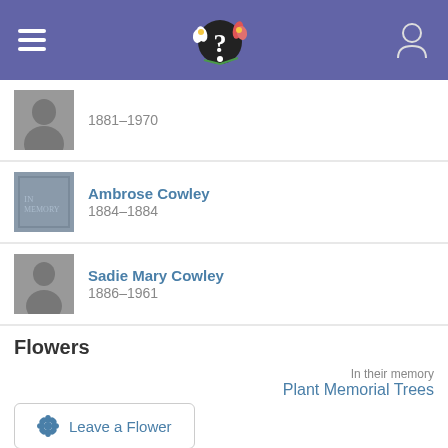[Figure (screenshot): App header bar with hamburger menu, flower/question mark logo, and user profile icon on purple background]
1881–1970
Ambrose Cowley
1884–1884
Sadie Mary Cowley
1886–1961
Flowers
In their memory
Plant Memorial Trees
Leave a Flower
We Remember™
by ancestry